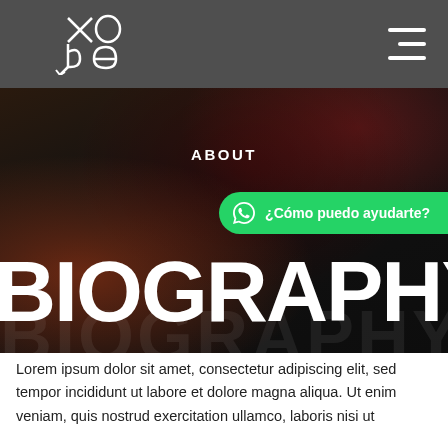Navigation bar with logo (xo/bc symbol) and hamburger menu
[Figure (photo): Dark moody photo of a musician/person in low light with red/orange highlights, used as hero background]
ABOUT
[Figure (infographic): Green WhatsApp chat bubble with icon and text: ¿Cómo puedo ayudarte?]
BIOGRAPHY
Lorem ipsum dolor sit amet, consectetur adipiscing elit, sed tempor incididunt ut labore et dolore magna aliqua. Ut enim veniam, quis nostrud exercitation ullamco, laboris nisi ut